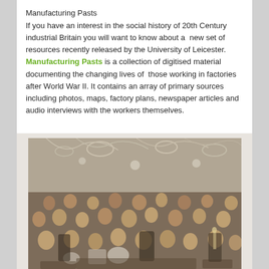Manufacturing Pasts
If you have an interest in the social history of 20th Century industrial Britain you will want to know about a  new set of resources recently released by the University of Leicester. Manufacturing Pasts is a collection of digitised material documenting the changing lives of  those working in factories after World War II. It contains an array of primary sources including photos, maps, factory plans, newspaper articles and audio interviews with the workers themselves.
[Figure (photo): Black and white photograph of a large group of factory workers gathered together in a decorated factory or hall, with paper streamers and decorations hanging from the ceiling. The group includes men and women of various ages, appears to be a celebration or party event.]